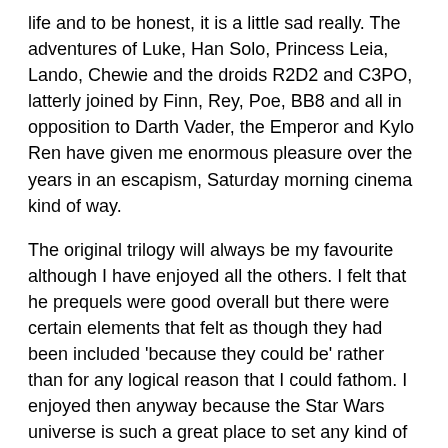life and to be honest, it is a little sad really. The adventures of Luke, Han Solo, Princess Leia, Lando, Chewie and the droids R2D2 and C3PO, latterly joined by Finn, Rey, Poe, BB8 and all in opposition to Darth Vader, the Emperor and Kylo Ren have given me enormous pleasure over the years in an escapism, Saturday morning cinema  kind of way.
The original trilogy will always be my favourite although I have enjoyed all the others. I felt that he prequels were good overall but there were certain elements that felt as though they had been included 'because they could be' rather than for any logical reason that I could fathom. I enjoyed then anyway because the Star Wars universe is such a great place to set any kind of film in. Rogue 1 was outstanding in my opinion and much as I enjoyed Solo I felt as though it was an opportunity wasted in many ways. The Last Jedi, which has upset many die hard fans was not a bad film - I rather enjoyed it - but again, there were elements that were included that did not appear to offer anything. I also felt that Luke could have been used to far better effect.
There will always be those that will attack a film or films on